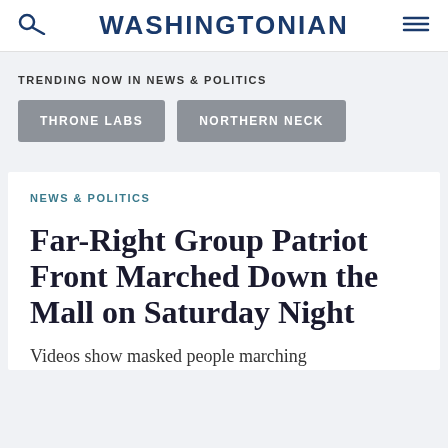WASHINGTONIAN
TRENDING NOW IN NEWS & POLITICS
THRONE LABS
NORTHERN NECK
NEWS & POLITICS
Far-Right Group Patriot Front Marched Down the Mall on Saturday Night
Videos show masked people marching